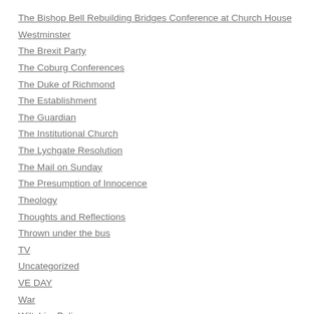The Bishop Bell Rebuilding Bridges Conference at Church House Westminster
The Brexit Party
The Coburg Conferences
The Duke of Richmond
The Establishment
The Guardian
The Institutional Church
The Lychgate Resolution
The Mail on Sunday
The Presumption of Innocence
Theology
Thoughts and Reflections
Thrown under the bus
TV
Uncategorized
VE DAY
War
Wiltshire Police